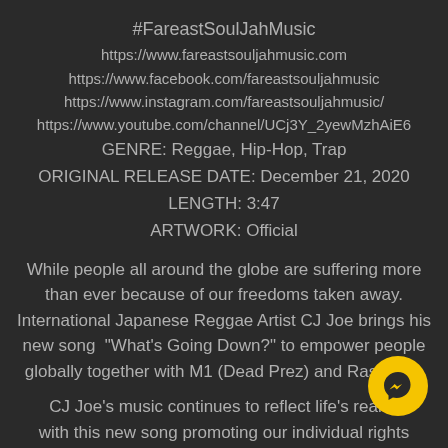#FareastSoulJahMusic
https://www.fareastsouljahmusic.com
https://www.facebook.com/fareastsouljahmusic
https://www.instagram.com/fareastsouljahmusic/
https://www.youtube.com/channel/UCj3Y_2yewMzhAiE6
GENRE: Reggae, Hip-Hop, Trap
ORIGINAL RELEASE DATE: December 21, 2020
LENGTH: 3:47
ARTWORK: Official
While people all around the globe are suffering more than ever because of our freedoms taken away. International Japanese Reggae Artist CJ Joe brings his new song  "What's Going Down?" to empower people globally together with M1 (Dead Prez) and Ras Tariq.
CJ Joe's music continues to reflect life's reality with this new song promoting our individual rights